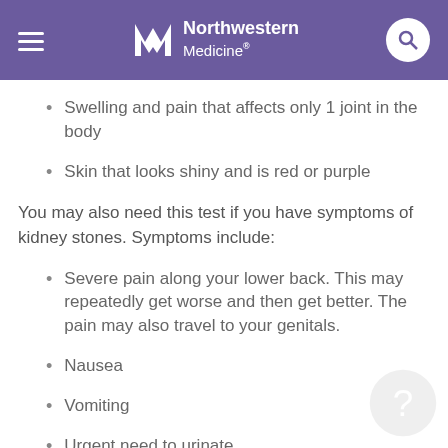Northwestern Medicine
Swelling and pain that affects only 1 joint in the body
Skin that looks shiny and is red or purple
You may also need this test if you have symptoms of kidney stones. Symptoms include:
Severe pain along your lower back. This may repeatedly get worse and then get better. The pain may also travel to your genitals.
Nausea
Vomiting
Urgent need to urinate